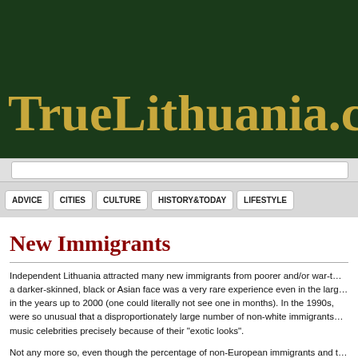TrueLithuania.com
ADVICE | CITIES | CULTURE | HISTORY&TODAY | LIFESTYLE
New Immigrants
Independent Lithuania attracted many new immigrants from poorer and/or war-torn countries. However, a darker-skinned, black or Asian face was a very rare experience even in the larger cities of Lithuania in the years up to 2000 (one could literally not see one in months). In the 1990s, non-white immigrants were so unusual that a disproportionately large number of non-white immigrants became pop, TV or music celebrities precisely because of their "exotic looks".
Not any more so, even though the percentage of non-European immigrants and their descendants is still somewhat lower in Lithuania than in the Western European countries such as France or the UK. After all, in Lithuania, most salaries are significantly lower so it is better to migrate further west.
Still, the majority of new immigrants come from the former Soviet Union and the bordering countries, they share existing Russian and European opposition, though they additionally...